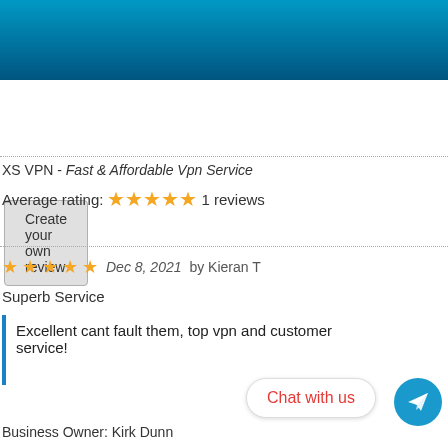[Figure (other): Blue gradient header banner]
Create your own review
XS VPN - Fast & Affordable Vpn Service
Average rating: ★★★★★ 1 reviews
★★★★★ Dec 8, 2021 by Kieran T
Superb Service
Excellent cant fault them, top vpn and customer service!
Chat with us
Business Owner: Kirk Dunn